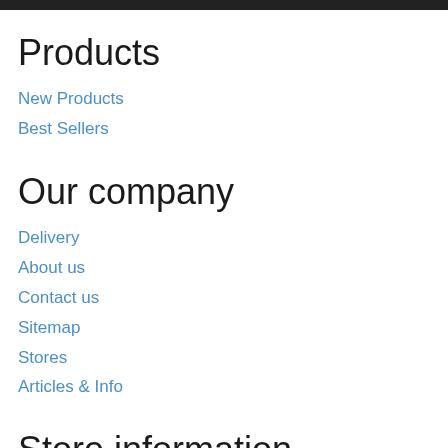Products
New Products
Best Sellers
Our company
Delivery
About us
Contact us
Sitemap
Stores
Articles & Info
Store information
Sandman's Workshop